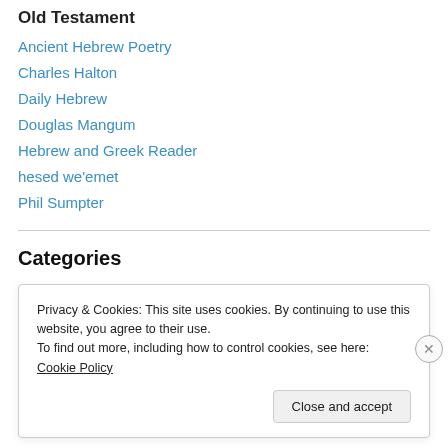Old Testament
Ancient Hebrew Poetry
Charles Halton
Daily Hebrew
Douglas Mangum
Hebrew and Greek Reader
hesed we'emet
Phil Sumpter
Categories
Adoption
Apple
Privacy & Cookies: This site uses cookies. By continuing to use this website, you agree to their use.
To find out more, including how to control cookies, see here: Cookie Policy
Close and accept